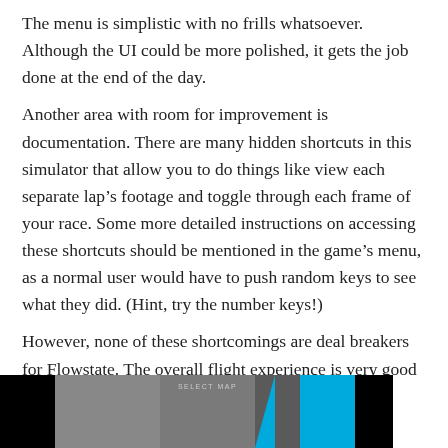The menu is simplistic with no frills whatsoever. Although the UI could be more polished, it gets the job done at the end of the day.
Another area with room for improvement is documentation. There are many hidden shortcuts in this simulator that allow you to do things like view each separate lap's footage and toggle through each frame of your race. Some more detailed instructions on accessing these shortcuts should be mentioned in the game's menu, as a normal user would have to push random keys to see what they did. (Hint, try the number keys!)
However, none of these shortcomings are deal breakers for Flowstate. The overall flight experience is very good nevertheless.
[Figure (screenshot): Screenshot of a game menu showing 'SELECT MAP' text on a dark gray background with black sections on sides and a blue section on the right.]